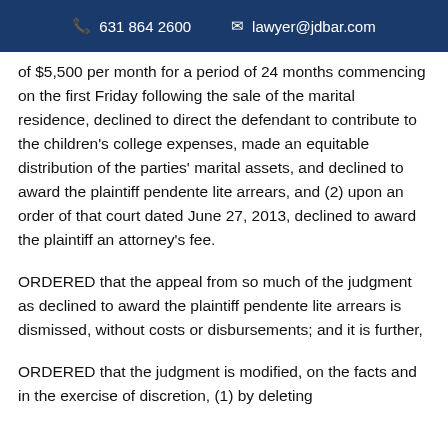631 864 2600   lawyer@jdbar.com
of $5,500 per month for a period of 24 months commencing on the first Friday following the sale of the marital residence, declined to direct the defendant to contribute to the children's college expenses, made an equitable distribution of the parties' marital assets, and declined to award the plaintiff pendente lite arrears, and (2) upon an order of that court dated June 27, 2013, declined to award the plaintiff an attorney's fee.
ORDERED that the appeal from so much of the judgment as declined to award the plaintiff pendente lite arrears is dismissed, without costs or disbursements; and it is further,
ORDERED that the judgment is modified, on the facts and in the exercise of discretion, (1) by deleting